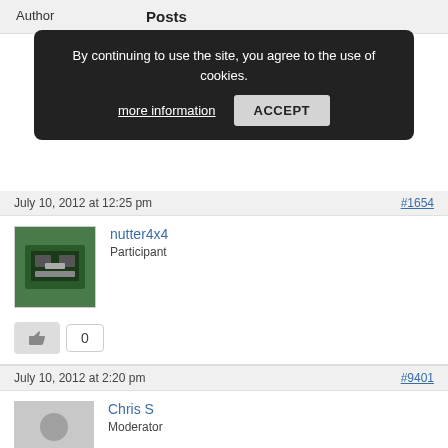Author   Posts
By continuing to use the site, you agree to the use of cookies. more information   ACCEPT
July 10, 2012 at 12:25 pm   #1654
nutter4x4
Participant
0
July 10, 2012 at 2:20 pm   #9401
Chris S
Moderator
Give us a clue then!
0